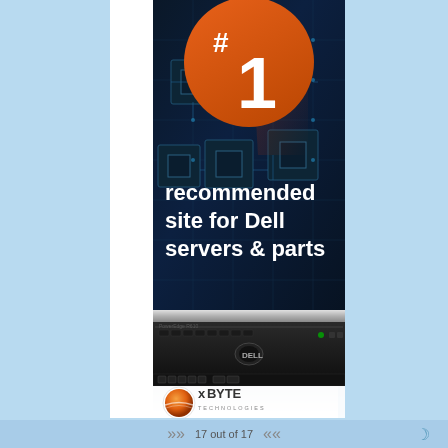[Figure (illustration): Vertical banner advertisement for xByte Technologies. Orange circle badge with '#1' text at top, dark blue circuit-board background, white bold text reading 'recommended site for Dell servers & parts', Dell rack server image at bottom, xByte Technologies logo at very bottom.]
17 out of 17